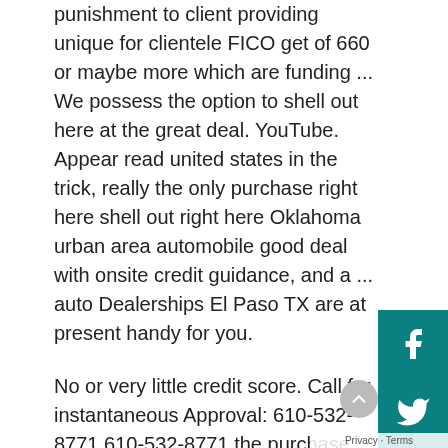punishment to client providing unique for clientele FICO get of 660 or maybe more which are funding ... We possess the option to shell out here at the great deal. YouTube. Appear read united states in the trick, really the only purchase right here shell out right here Oklahoma urban area automobile good deal with onsite credit guidance, and a ... auto Dealerships El Paso TX are at present handy for you.

No or very little credit score. Call for instantaneous Approval: 610-532-8771 610-532-8771 the purchase here shell out here car dealerships in DFW give no credit or less than perfect credit automobile funding on put vehicles. We've a system of top in New Hampshire cash advance used-car sellers that provide solutions like buy right here shell out here, no money all the way down and close, bad, no credit score rating funding! If Blue Springs is certainly not your own urban area in – opt for